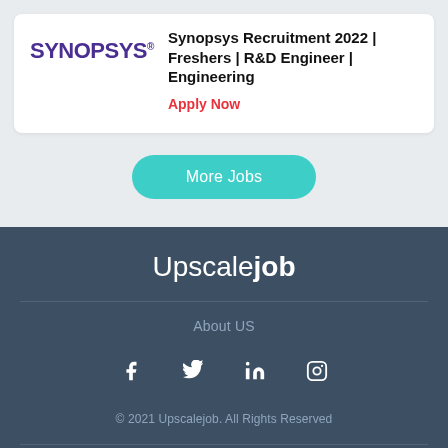[Figure (logo): Synopsys company logo in purple with registered trademark symbol]
Synopsys Recruitment 2022 | Freshers | R&D Engineer | Engineering
Apply Now
More Jobs
Upscalejob
About US
[Figure (illustration): Social media icons: Facebook, Twitter, LinkedIn, Instagram]
© 2021 Upscalejob. All Rights Reserved
Get Latest Internships, Jobs, Bonus Content And